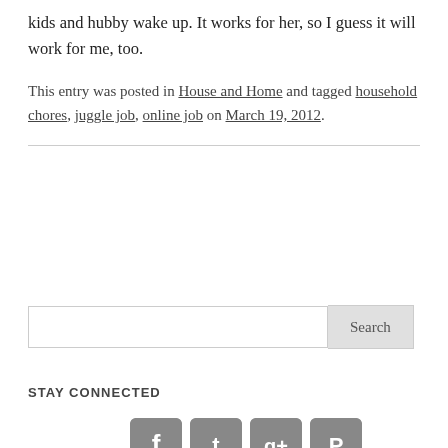kids and hubby wake up. It works for her, so I guess it will work for me, too.
This entry was posted in House and Home and tagged household chores, juggle job, online job on March 19, 2012.
Search
STAY CONNECTED
[Figure (illustration): Four social media icons (Facebook, Twitter, Google+, Pinterest) shown as dark grey rounded square buttons, partially visible at bottom of page.]